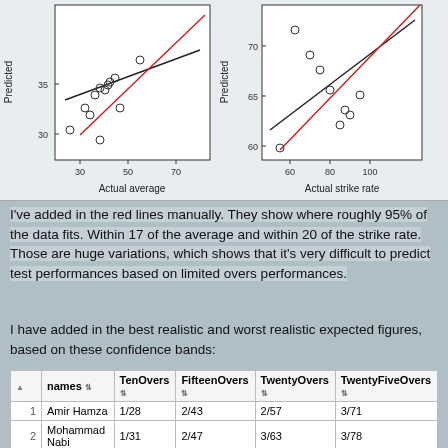[Figure (continuous-plot): Two scatter plots side by side. Left plot: x-axis 'Actual average' (20-70+), y-axis 'Predicted' (~28-38), with open circles scattered and two lines (black regression, red confidence band). Right plot: x-axis 'Actual strike rate' (60-100+), y-axis 'Predicted' (~58-72), with open circles and two lines (black regression, red confidence band).]
I've added in the red lines manually. They show where roughly 95% of the data fits. Within 17 of the average and within 20 of the strike rate. Those are huge variations, which shows that it's very difficult to predict test performances based on limited overs performances.
I have added in the best realistic and worst realistic expected figures, based on these confidence bands:
| ▲ | names | TenOvers | FifteenOvers | TwentyOvers | TwentyFiveOvers |
| --- | --- | --- | --- | --- | --- |
| 1 | Amir Hamza | 1/28 | 2/43 | 2/57 | 3/71 |
| 2 | Mohammad Nabi | 1/31 | 2/47 | 3/63 | 3/78 |
| 3 | Mujeeb Ur Rahman | 1/26 | 2/39 | 2/52 | 3/65 |